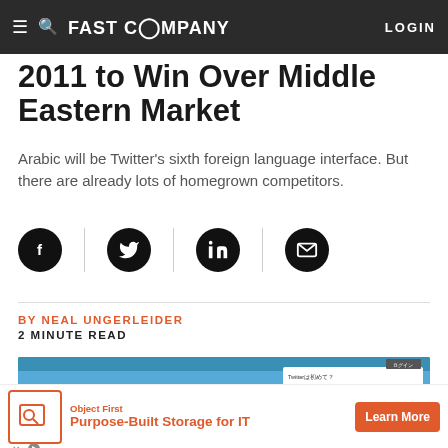FAST COMPANY | LOGIN
2011 to Win Over Middle Eastern Market
Arabic will be Twitter's sixth foreign language interface. But there are already lots of homegrown competitors.
[Figure (infographic): Social share buttons: Facebook, Twitter, LinkedIn, Email — black circles with white icons, separated by vertical dividers]
BY NEAL UNGERLEIDER
2 MINUTE READ
[Figure (screenshot): Screenshot of Twitter's Japanese-language interface showing the Twitter bird logo, search bar, and a registration panel in Japanese]
[Figure (infographic): Advertisement for Object First: Purpose-Built Storage for IT, with Learn More button in orange]